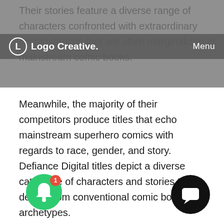Their stories feature a diverse range of characters confronted with extraordinary circumstances that are often marginalized in mainstream comic books.
[Figure (logo): Logo Creative logo with circular icon and bold text, with Menu link on the right, displayed in a dark gray navigation bar]
Meanwhile, the majority of their competitors produce titles that echo mainstream superhero comics with regards to race, gender, and story. Defiance Digital titles depict a diverse catalogue of characters and stories that depart from conventional comic book archetypes.
Project
Create a new logo / visual identity for Defiance Digital r... or their new rebrand.
Important information points